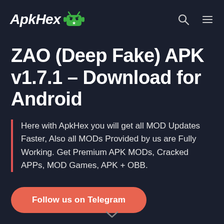ApkHex
ZAO (Deep Fake) APK v1.7.1 – Download for Android
Here with ApkHex you will get all MOD Updates Faster, Also all MODs Provided by us are Fully Working. Get Premium APK MODs, Cracked APPs, MOD Games, APK + OBB.
Follow us on Telegram